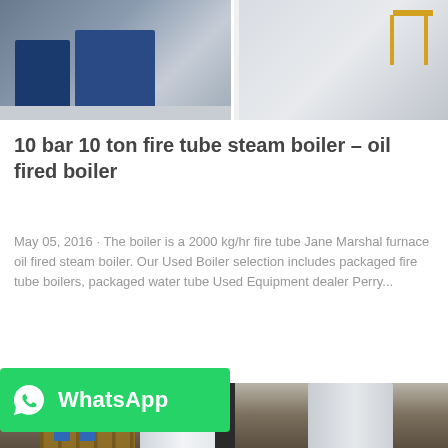[Figure (photo): Industrial boiler equipment in a factory setting, showing dark blue/navy colored boiler units on the left and white walls on the right with a yellow stool visible]
10 bar 10 ton fire tube steam boiler – oil fired boiler
May 05, 2016 · The boiler is a 2000 kg/hr fire tube Jane Marshal furnace oil fired steam boiler. Our Used Boiler selection includes packaged fire tube boilers, packaged water tube Used Equipment dealer Perry...
[Figure (other): Get Price button — cyan/blue rounded rectangle button with white text]
[Figure (photo): Industrial warehouse showing large white cylindrical boiler vessels wrapped in protective material, with workers in blue uniforms and wooden pallets visible]
[Figure (logo): WhatsApp badge — green rectangle with WhatsApp phone icon and white bold text 'WhatsApp']